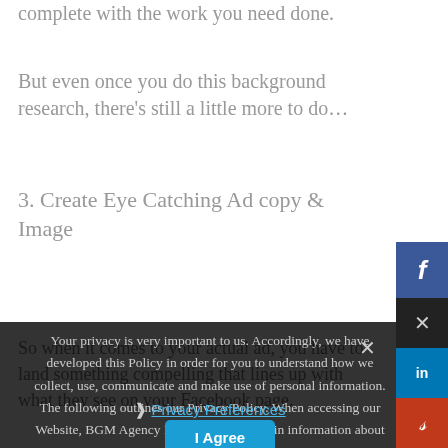complete with the work you need done.
But even once you do this background research, there’s still a little more to do…
3. Create Eye Catching Ad copy & Image
So when it comes to your actual ad, you have to land something compelling that lines up with what they see on your Facebook page.
My most important rule is to think to click worthy content. I limit myself to 10 times out of 10 you might say that’s yes, haha.
Your privacy is very important to us. Accordingly, we have developed this Policy in order for you to understand how we collect, use, communicate and make use of personal information. The following outlines our Privacy Policy. When accessing our Website, BGM Agency LLC will learn certain information about you during your visit.
Privacy Preferences
I Agree
Unless you’re a marketing geek like me who is obsessed with analytics, WHY people buy,